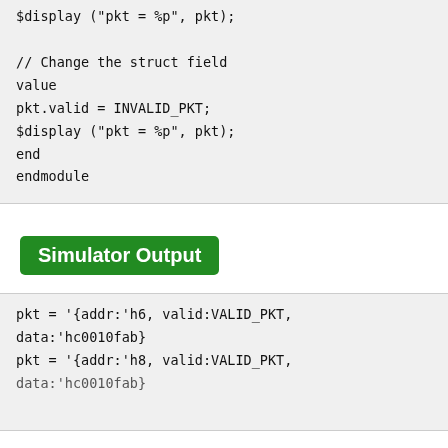$display ("pkt = %p", pkt);

    // Change the struct field value
    pkt.valid = INVALID_PKT;
    $display ("pkt = %p", pkt);
  end
endmodule
Simulator Output
pkt = '{addr:'h6, valid:VALID_PKT, data:'hc0010fab}
pkt = '{addr:'h8, valid:VALID_PKT, data:'hc0010fab}